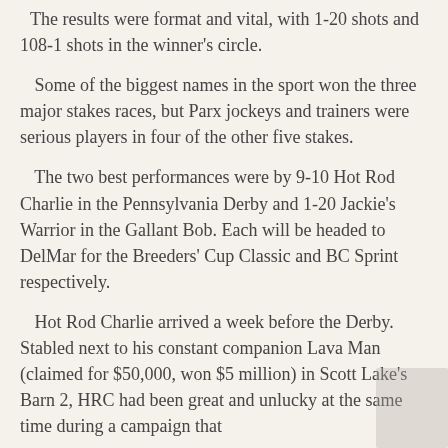The results were format and vital, with 1-20 shots and 108-1 shots in the winner's circle.
Some of the biggest names in the sport won the three major stakes races, but Parx jockeys and trainers were serious players in four of the other five stakes.
The two best performances were by 9-10 Hot Rod Charlie in the Pennsylvania Derby and 1-20 Jackie's Warrior in the Gallant Bob. Each will be headed to DelMar for the Breeders' Cup Classic and BC Sprint respectively.
Hot Rod Charlie arrived a week before the Derby. Stabled next to his constant companion Lava Man (claimed for $50,000, won $5 million) in Scott Lake's Barn 2, HRC had been great and unlucky at the same time during a campaign that